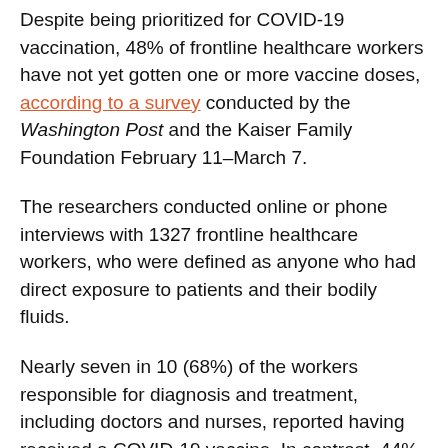Despite being prioritized for COVID-19 vaccination, 48% of frontline healthcare workers have not yet gotten one or more vaccine doses, according to a survey conducted by the Washington Post and the Kaiser Family Foundation February 11–March 7.
The researchers conducted online or phone interviews with 1327 frontline healthcare workers, who were defined as anyone who had direct exposure to patients and their bodily fluids.
Nearly seven in 10 (68%) of the workers responsible for diagnosis and treatment, including doctors and nurses, reported having received a COVID-19 vaccine. In contrast, 44% of workers who perform administrative duties and 37% of those who assist with patient care, such as those involved in bathing, eating, cleaning, exercising, and housekeeping, reported having been vaccinated.
There were also big differences in the percentages of